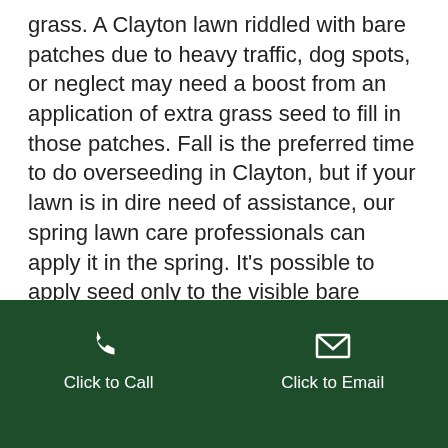grass. A Clayton lawn riddled with bare patches due to heavy traffic, dog spots, or neglect may need a boost from an application of extra grass seed to fill in those patches. Fall is the preferred time to do overseeding in Clayton, but if your lawn is in dire need of assistance, our spring lawn care professionals can apply it in the spring. It's possible to apply seed only to the visible bare patches, but we prefer to overseed the entire lawn to ensure consistent, steady growth and a lawn that stays thick and healthy in Clayton.
Fertilize
Click to Call | Click to Email